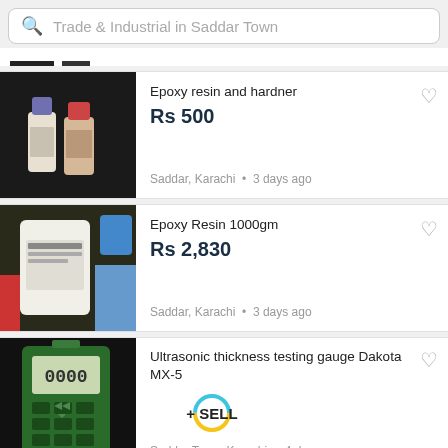Trade & Industrial in Saddar Town
[Figure (photo): Two bottles of epoxy resin and hardener against dark background]
Epoxy resin and hardner
Rs 500
Saddar, Karachi · 3 days ago
[Figure (photo): Large white bottle of Epoxy Resin 1000gm]
Epoxy Resin 1000gm
Rs 2,830
Saddar, Karachi · 3 days ago
[Figure (photo): Ultrasonic thickness testing gauge Dakota MX-5 device]
Ultrasonic thickness testing gauge Dakota MX-5
Saddar Town, Karachi · 4 days ago